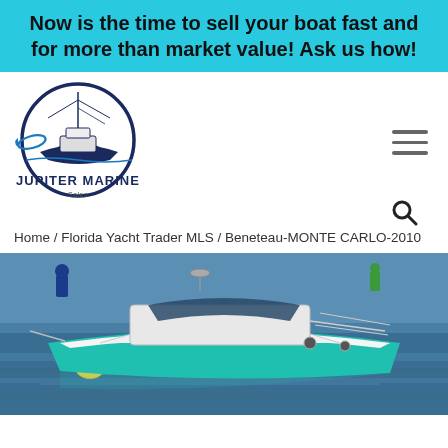Now is the time to sell your boat fast and for more than market value! Ask us how!
[Figure (logo): Jupiter Marine Sales logo — circular design with sport fishing boat and fish, text JUPITER MARINE Sales]
[Figure (photo): White and teal Beneteau Monte Carlo 2010 yacht moored on blue water]
Home / Florida Yacht Trader MLS / Beneteau-MONTE CARLO-2010